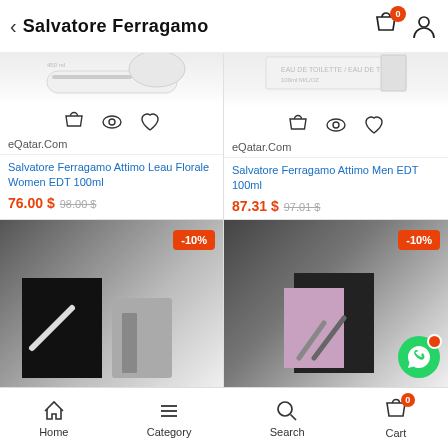Salvatore Ferragamo
[Figure (screenshot): Product card: Salvatore Ferragamo Attimo Leau Florale Women EDT 100ml, price 76.00 $ (was 98.00 $), seller eQatar.Com, with cart/eye/heart icons]
[Figure (screenshot): Product card: Salvatore Ferragamo Attimo Men EDT 100ml, price 87.31 $ (was 97.01 $), seller eQatar.Com, with cart/eye/heart icons]
[Figure (screenshot): Product card bottom-left: -10% discount badge, partial product image]
[Figure (screenshot): Product card bottom-right: -10% discount badge, partial product image]
Home  Category  Search  Cart